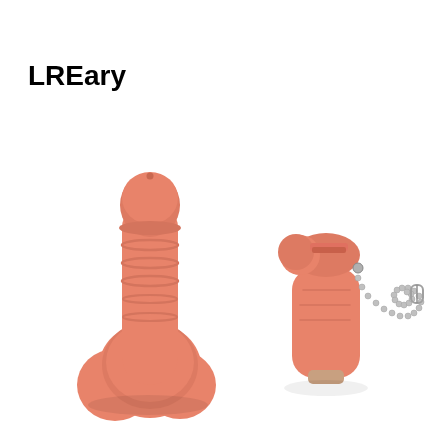LREary
[Figure (photo): Product photo showing two salmon/peach-colored novelty USB flash drives shaped like phallic objects. The left item is the full drive assembled. The right item shows the drive disassembled with the cap removed, and a metal ball-chain keychain attached to the cap. Both items are against a white background.]